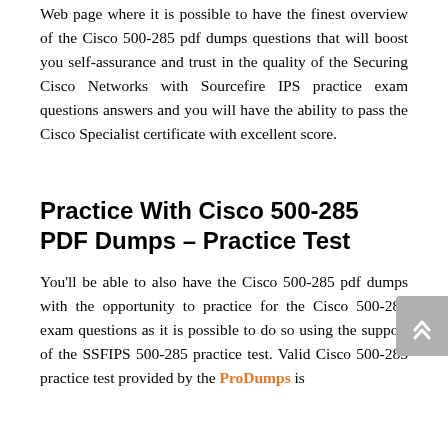Web page where it is possible to have the finest overview of the Cisco 500-285 pdf dumps questions that will boost you self-assurance and trust in the quality of the Securing Cisco Networks with Sourcefire IPS practice exam questions answers and you will have the ability to pass the Cisco Specialist certificate with excellent score.
Practice With Cisco 500-285 PDF Dumps – Practice Test
You'll be able to also have the Cisco 500-285 pdf dumps with the opportunity to practice for the Cisco 500-285 exam questions as it is possible to do so using the support of the SSFIPS 500-285 practice test. Valid Cisco 500-285 practice test provided by the ProDumps is